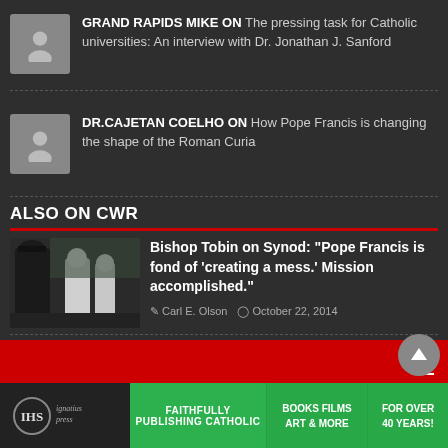GRAND RAPIDS MIKE ON The pressing task for Catholic universities: An interview with Dr. Jonathan J. Sanford
DR.CAJETAN COELHO ON How Pope Francis is changing the shape of the Roman Curia
ALSO ON CWR
[Figure (photo): Photo of Bishop Tobin at a synod event with people in white robes]
Bishop Tobin on Synod: "Pope Francis is fond of 'creating a mess.' Mission accomplished."
Carl E. Olson  October 22, 2014
[Figure (logo): Ignatius Press logo with IHS symbol]
FAITHFULLY PUBLISHING CATHOLIC
BOOKS FILMS ART & MORE
FOR OVER 40 YEARS!